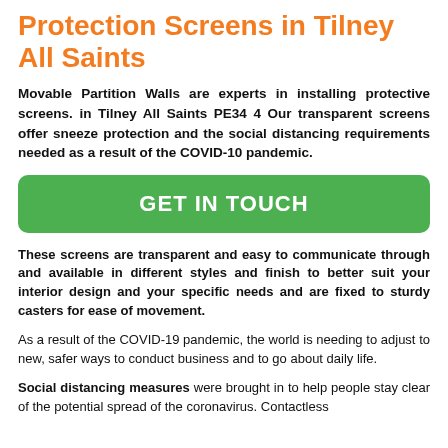Protection Screens in Tilney All Saints
Movable Partition Walls are experts in installing protective screens. in Tilney All Saints PE34 4 Our transparent screens offer sneeze protection and the social distancing requirements needed as a result of the COVID-10 pandemic.
GET IN TOUCH
These screens are transparent and easy to communicate through and available in different styles and finish to better suit your interior design and your specific needs and are fixed to sturdy casters for ease of movement.
As a result of the COVID-19 pandemic, the world is needing to adjust to new, safer ways to conduct business and to go about daily life.
Social distancing measures were brought in to help people stay clear of the potential spread of the coronavirus. Contactless